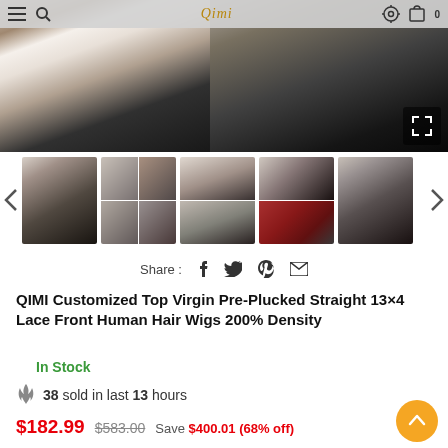Qimi — navigation bar with menu, search, settings, cart icons
[Figure (photo): Product photos of a woman wearing a straight black lace front wig; split main image with fullscreen expand button]
[Figure (photo): Thumbnail strip with 5 product photo thumbnails and left/right navigation arrows]
Share : f  twitter  pinterest  email
QIMI Customized Top Virgin Pre-Plucked Straight 13×4 Lace Front Human Hair Wigs 200% Density
In Stock
38 sold in last 13 hours
$182.99  $583.00   Save $400.01 (68% off)